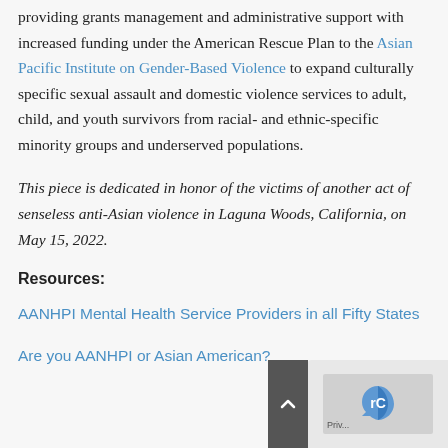providing grants management and administrative support with increased funding under the American Rescue Plan to the Asian Pacific Institute on Gender-Based Violence to expand culturally specific sexual assault and domestic violence services to adult, child, and youth survivors from racial- and ethnic-specific minority groups and underserved populations.
This piece is dedicated in honor of the victims of another act of senseless anti-Asian violence in Laguna Woods, California, on May 15, 2022.
Resources:
AANHPI Mental Health Service Providers in all Fifty States
Are you AANHPI or Asian American?